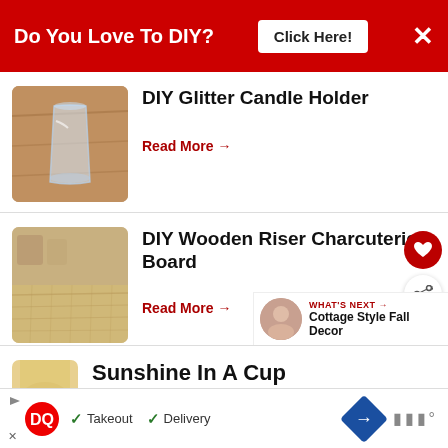[Figure (screenshot): Red banner advertisement: 'Do You Love To DIY?' with 'Click Here!' button and X close button]
[Figure (photo): Photo of a clear glass on a wooden surface for DIY Glitter Candle Holder article]
DIY Glitter Candle Holder
Read More →
[Figure (photo): Photo of a wooden cutting board for DIY Wooden Riser Charcuterie Board article]
DIY Wooden Riser Charcuterie Board
Read More →
WHAT'S NEXT → Cottage Style Fall Decor
[Figure (photo): Partial photo of a cup for Sunshine In A Cup article]
Sunshine In A Cup
[Figure (screenshot): Dairy Queen advertisement banner with Takeout and Delivery checkmarks]